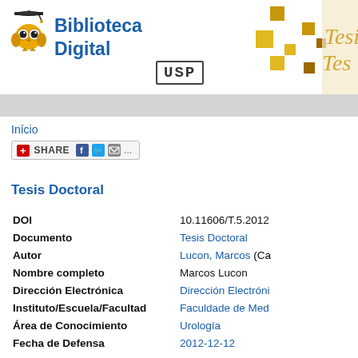Biblioteca Digital USP
Início
[Figure (screenshot): Share button with plus icon, Facebook, Twitter, email icons]
Tesis Doctoral
| Field | Value |
| --- | --- |
| DOI | 10.11606/T.5.2012 |
| Documento | Tesis Doctoral |
| Autor | Lucon, Marcos (Ca... |
| Nombre completo | Marcos Lucon |
| Dirección Electrónica | Dirección Electróni... |
| Instituto/Escuela/Facultad | Faculdade de Med... |
| Área de Conocimiento | Urología |
| Fecha de Defensa | 2012-12-12 |